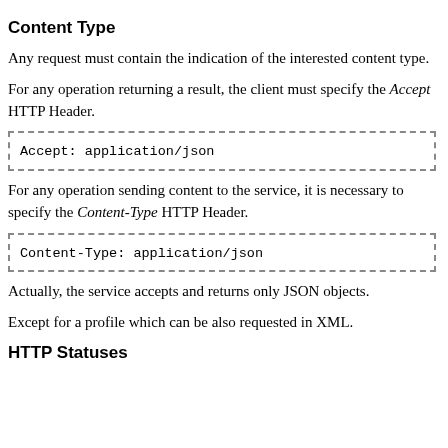Content Type
Any request must contain the indication of the interested content type.
For any operation returning a result, the client must specify the Accept HTTP Header.
Accept: application/json
For any operation sending content to the service, it is necessary to specify the Content-Type HTTP Header.
Content-Type: application/json
Actually, the service accepts and returns only JSON objects.
Except for a profile which can be also requested in XML.
HTTP Statuses